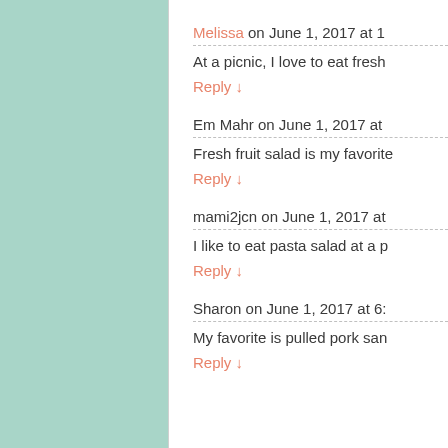[Figure (illustration): Light teal/mint green textured background panel on the left side of the page]
Melissa on June 1, 2017 at 1
At a picnic, I love to eat fresh
Reply ↓
Em Mahr on June 1, 2017 at
Fresh fruit salad is my favorite
Reply ↓
mami2jcn on June 1, 2017 at
I like to eat pasta salad at a p
Reply ↓
Sharon on June 1, 2017 at 6:
My favorite is pulled pork san
Reply ↓